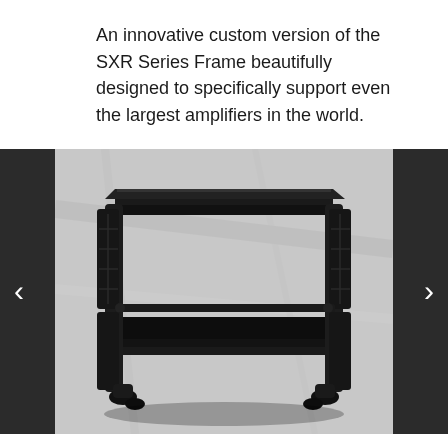An innovative custom version of the SXR Series Frame beautifully designed to specifically support even the largest amplifiers in the world.
[Figure (photo): A black two-tier audio equipment rack/frame (SXR Series Frame) photographed against a light grey marble-like background. The rack has a wide rectangular top shelf, a lower shelf, ornate black tubular side supports with decorative elements, and short legs at the bottom. Navigation arrows (< >) appear on either side of the image over a dark background.]